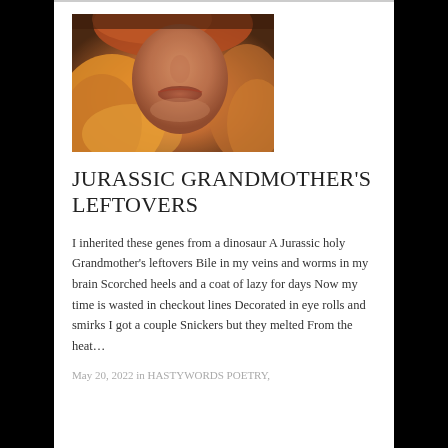[Figure (photo): Close-up photo of a person with orange/red wavy hair, showing the lower half of their face including nose and lips, warm orange tones]
JURASSIC GRANDMOTHER'S LEFTOVERS
I inherited these genes from a dinosaur A Jurassic holy Grandmother's leftovers Bile in my veins and worms in my brain Scorched heels and a coat of lazy for days Now my time is wasted in checkout lines Decorated in eye rolls and smirks I got a couple Snickers but they melted From the heat…
May 20, 2022 in HASTYWORDS POETRY,